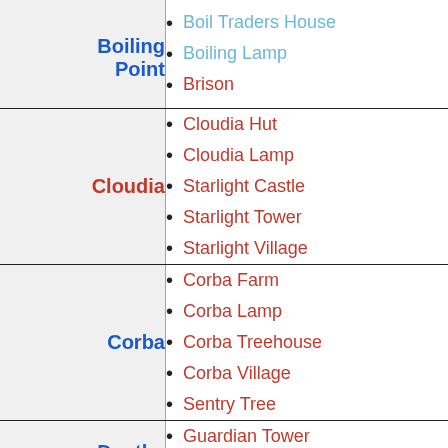| Area | Locations |
| --- | --- |
| Boiling Point | Boil Traders House
Boiling Lamp
Brison |
| Cloudia | Cloudia Hut
Cloudia Lamp
Starlight Castle
Starlight Tower
Starlight Village |
| Corba | Corba Farm
Corba Lamp
Corba Treehouse
Corba Village
Sentry Tree |
| Depths | Guardian Tower
Sorcerer Shrine |
| Euca | Bot Spawner
Smeltery |
| Frozen | Frozen Merchant's |